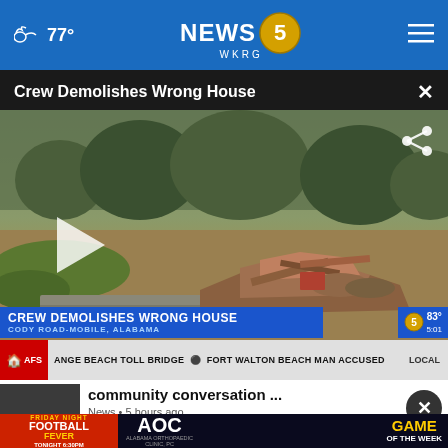77° NEWS 5 WKRG
Crew Demolishes Wrong House
[Figure (screenshot): Video thumbnail showing a demolished house site with debris and rubble on the ground. Overlay text reads: CREW DEMOLISHES WRONG HOUSE / CODY ROAD-MOBILE, ALABAMA. NEWS 5 WKRG logo visible. Play button visible on left side. Share icon in top right.]
AFS ANGE BEACH TOLL BRIDGE  FORT WALTON BEACH MAN ACCUSED   LOCAL
community conversation ...
News • 5 hours ago
[Figure (infographic): Advertisement banner: Friday Night Football Fever - AOC Alabama Orthopaedic Clinic PC - Game of the Week - Tonight 6:30PM]